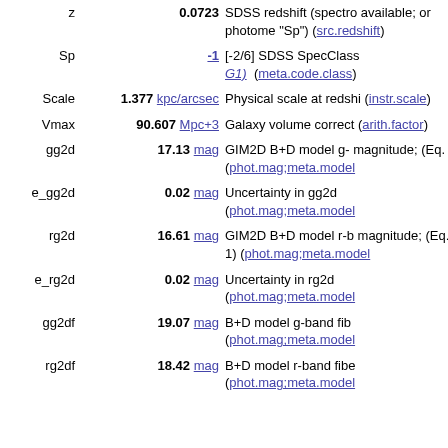| Name | Value | Description |
| --- | --- | --- |
| z | 0.0723 | SDSS redshift (spectro... available; or photome... "Sp") (src.redshift) |
| Sp | -1 | [-2/6] SDSS SpecClass... G1) (meta.code.class) |
| Scale | 1.377 kpc/arcsec | Physical scale at redshi... (instr.scale) |
| Vmax | 90.607 Mpc+3 | Galaxy volume correct... (arith.factor) |
| gg2d | 17.13 mag | GIM2D B+D model g- magnitude; (Eq. 1) (phot.mag;meta.model) |
| e_gg2d | 0.02 mag | Uncertainty in gg2d (phot.mag;meta.model) |
| rg2d | 16.61 mag | GIM2D B+D model r-b magnitude; (Eq. 1) (phot.mag;meta.model) |
| e_rg2d | 0.02 mag | Uncertainty in rg2d (phot.mag;meta.model) |
| gg2df | 19.07 mag | B+D model g-band fib (phot.mag;meta.model) |
| rg2df | 18.42 mag | B+D model r-band fibe (phot.mag;meta.model) |